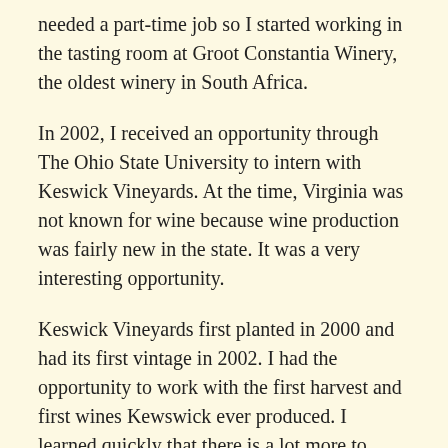needed a part-time job so I started working in the tasting room at Groot Constantia Winery, the oldest winery in South Africa.
In 2002, I received an opportunity through The Ohio State University to intern with Keswick Vineyards. At the time, Virginia was not known for wine because wine production was fairly new in the state. It was a very interesting opportunity.
Keswick Vineyards first planted in 2000 and had its first vintage in 2002. I had the opportunity to work with the first harvest and first wines Kewswick ever produced. I learned quickly that there is a lot more to making wine than what I learned at university.
USTA Mid-Atlantic: What do you think people